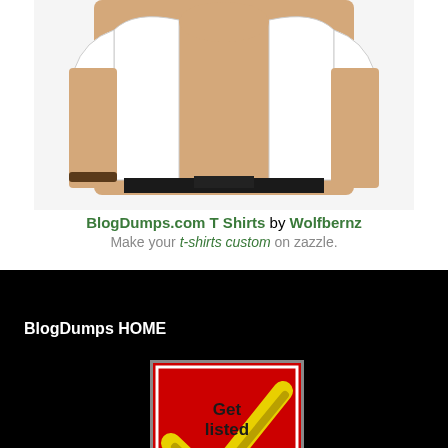[Figure (photo): Man wearing a plain white t-shirt, shown from torso down to waist, with arms at sides, wearing a bracelet on left wrist and dark pants. The image is cropped showing only the body torso.]
BlogDumps.com T Shirts by Wolfbernz
Make your t-shirts custom on zazzle.
BlogDumps HOME
[Figure (illustration): Red square button with a large yellow checkmark and text 'Get listed' in dark letters on a red background.]